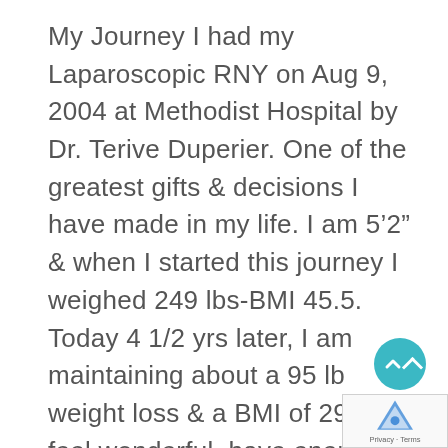My Journey I had my Laparoscopic RNY on Aug 9, 2004 at Methodist Hospital by Dr. Terive Duperier. One of the greatest gifts & decisions I have made in my life. I am 5'2" & when I started this journey I weighed 249 lbs-BMI 45.5. Today 4 1/2 yrs later, I am maintaining about a 95 lb weight loss & a BMI of 29. I feel wonderful, have energy, & a healthy future. I have struggled all my life with weight. Growing up I was always active, playing tennis, softball, marching band & all ways outdoors-but heavy for my age. Even into adulthood I continued to play softball & do all my own yard work. As I got into my 60's my health was beginning to show the effects of my weight. I was diagnosed with diabetes, hypertension, & Heart Disease. When I had to have two Heart Stents-that